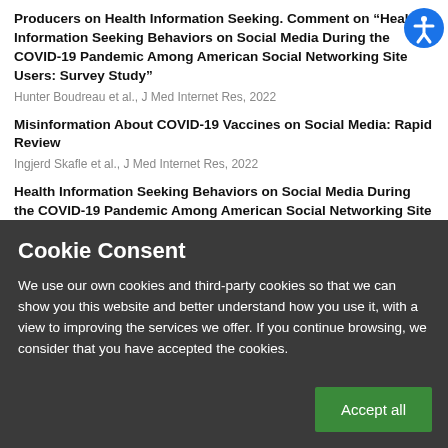Producers on Health Information Seeking. Comment on "Health Information Seeking Behaviors on Social Media During the COVID-19 Pandemic Among American Social Networking Site Users: Survey Study"
Hunter Boudreau et al., J Med Internet Res, 2022
Misinformation About COVID-19 Vaccines on Social Media: Rapid Review
Ingjerd Skafle et al., J Med Internet Res, 2022
Health Information Seeking Behaviors on Social Media During the COVID-19 Pandemic Among American Social Networking Site Users: Survey Study
Stephen Neely et al., J Med Internet Res, 2021
Cookie Consent
We use our own cookies and third-party cookies so that we can show you this website and better understand how you use it, with a view to improving the services we offer. If you continue browsing, we consider that you have accepted the cookies.